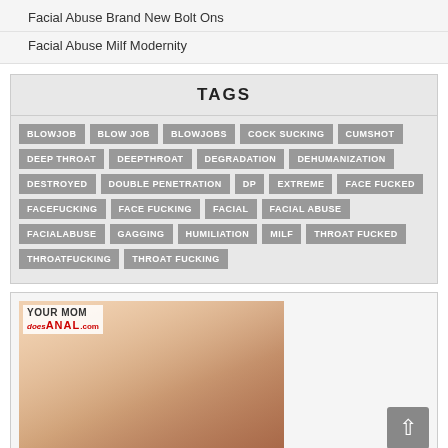Facial Abuse Brand New Bolt Ons
Facial Abuse Milf Modernity
TAGS
BLOWJOB
BLOW JOB
BLOWJOBS
COCK SUCKING
CUMSHOT
DEEP THROAT
DEEPTHROAT
DEGRADATION
DEHUMANIZATION
DESTROYED
DOUBLE PENETRATION
DP
EXTREME
FACE FUCKED
FACEFUCKING
FACE FUCKING
FACIAL
FACIAL ABUSE
FACIALABUSE
GAGGING
HUMILIATION
MILF
THROAT FUCKED
THROATFUCKING
THROAT FUCKING
[Figure (photo): Adult content image with 'Your Mom Does Anal' logo overlay in top left corner]